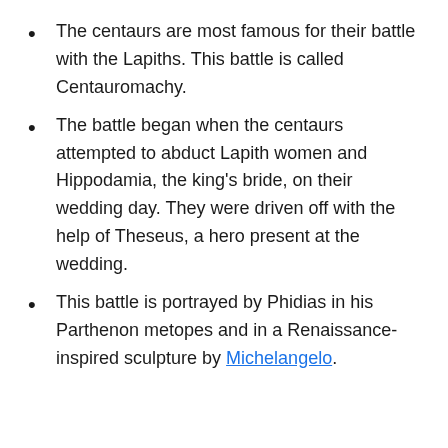The centaurs are most famous for their battle with the Lapiths. This battle is called Centauromachy.
The battle began when the centaurs attempted to abduct Lapith women and Hippodamia, the king’s bride, on their wedding day. They were driven off with the help of Theseus, a hero present at the wedding.
This battle is portrayed by Phidias in his Parthenon metopes and in a Renaissance-inspired sculpture by Michelangelo.